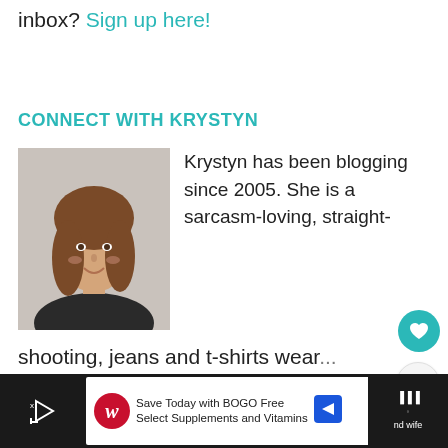inbox? Sign up here!
CONNECT WITH KRYSTYN
[Figure (photo): Headshot of Krystyn, a young woman with long brown hair, smiling, wearing a dark top, against a light gray background.]
Krystyn has been blogging since 2005. She is a sarcasm-loving, straight-shooting, jeans and t-shirts wear...
and mom of four girls (ages 15, 13, 10 and
[Figure (infographic): WHAT'S NEXT arrow label with STEM Activities for... thumbnail]
[Figure (screenshot): Ad bar: Walgreens Save Today with BOGO Free Select Supplements and Vitamins]